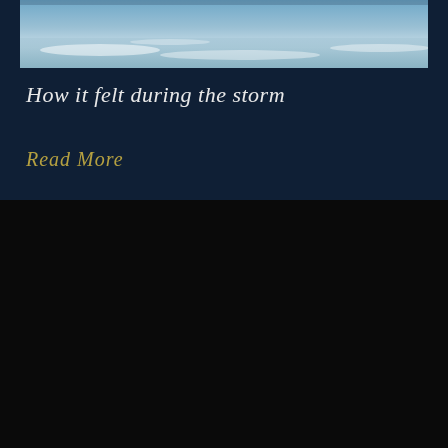[Figure (photo): Storm image at the top of the page showing stormy water or sky]
How it felt during the storm
Read More
CONNECT WITH LIZ
[Figure (infographic): Three social media icons: Twitter bird, Facebook f, and Instagram camera]
CONTACT